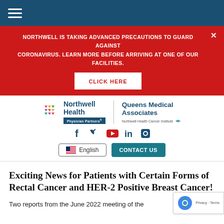Navigation bar with hamburger menu
NORTHWELL IS TAKING ADVANCED PRECAUTIONS TO GUARD AGAINST CORONAVIRUS. LEARN MORE BEFORE ARRIVING AT ONE OF OUR FACILITIES.
CLICK HERE
[Figure (logo): Northwell Health Physician Partners and Queens Medical Associates Northwell Health Cancer Institute logo]
[Figure (infographic): Social media icons: Facebook, Twitter, YouTube, LinkedIn, Blogger]
English | CONTACT US
Exciting News for Patients with Certain Forms of Rectal Cancer and HER-2 Positive Breast Cancer!
Two reports from the June 2022 meeting of the American Society of Clinical Oncology (ASCO) h...